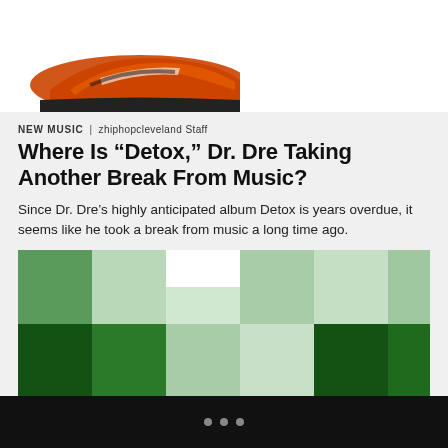[Figure (photo): Partial image of a sneaker (orange and black shoe) visible at the top of the page against white background]
NEW MUSIC | zhiphopcleveland Staff
Where Is “Detox,” Dr. Dre Taking Another Break From Music?
Since Dr. Dre’s highly anticipated album Detox is years overdue, it seems like he took a break from music a long time ago.
[Figure (illustration): Abstract mosaic/grid pattern made of various shades of green squares, partially cropped]
• • •